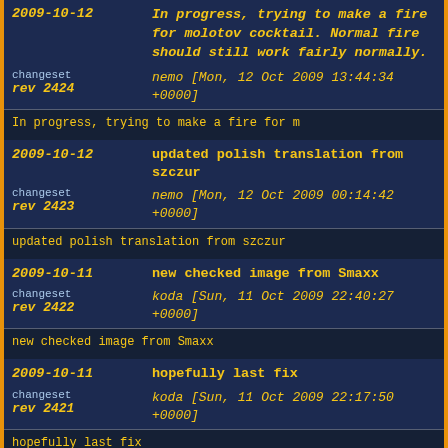2009-10-12 | In progress, trying to make a fire for molotov cocktail. Normal fire should still work fairly normally. | changeset rev 2424 | nemo [Mon, 12 Oct 2009 13:44:34 +0000]
In progress, trying to make a fire for m
2009-10-12 | updated polish translation from szczur | changeset rev 2423 | nemo [Mon, 12 Oct 2009 00:14:42 +0000]
updated polish translation from szczur
2009-10-11 | new checked image from Smaxx | changeset rev 2422 | koda [Sun, 11 Oct 2009 22:40:27 +0000]
new checked image from Smaxx
2009-10-11 | hopefully last fix | changeset rev 2421 | koda [Sun, 11 Oct 2009 22:17:50 +0000]
hopefully last fix